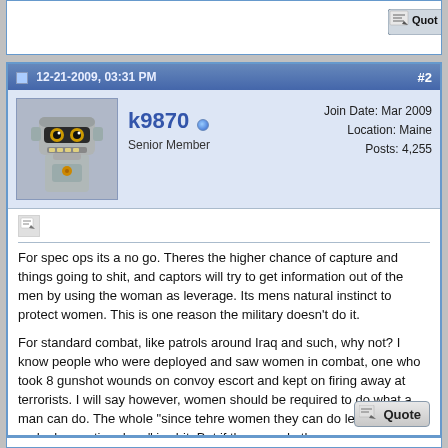12-21-2009, 03:31 PM  #2
k9870
Senior Member
Join Date: Mar 2009
Location: Maine
Posts: 4,255
For spec ops its a no go. Theres the higher chance of capture and things going to shit, and captors will try to get information out of the men by using the woman as leverage. Its mens natural instinct to protect women. This is one reason the military doesn't do it.

For standard combat, like patrols around Iraq and such, why not? I know people who were deployed and saw women in combat, one who took 8 gunshot wounds on convoy escort and kept on firing away at terrorists. I will say however, women should be required to do what a man can do. The whole "since tehre women they can do less pushups and a longer timed run" is shit. But if they can do the same requirements as a man, they can do the same job.